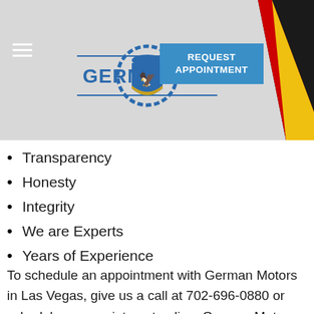[Figure (logo): German Motors logo with eagle shield emblem, gear border, blue and gold colors, and text GERMAN MOTORS]
Transparency
Honesty
Integrity
We are Experts
Years of Experience
To schedule an appointment with German Motors in Las Vegas, give us a call at 702-696-0880 or schedule an appointment online. German Motors - Independent German Car Repair Professionals in Las Vegas.